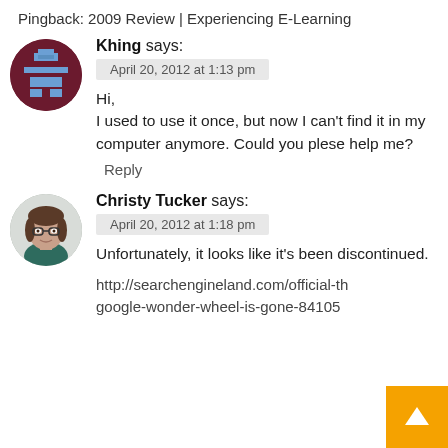Pingback: 2009 Review | Experiencing E-Learning
Khing says:
April 20, 2012 at 1:13 pm
Hi,
I used to use it once, but now I can't find it in my computer anymore. Could you plese help me?
Reply
Christy Tucker says:
April 20, 2012 at 1:18 pm
Unfortunately, it looks like it's been discontinued.
http://searchengineland.com/official-th
google-wonder-wheel-is-gone-84105